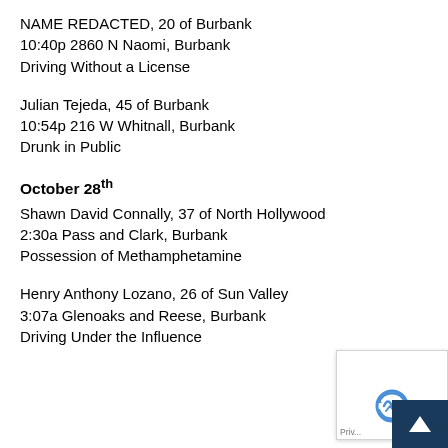NAME REDACTED, 20 of Burbank
10:40p 2860 N Naomi, Burbank
Driving Without a License
Julian Tejeda, 45 of Burbank
10:54p 216 W Whitnall, Burbank
Drunk in Public
October 28th
Shawn David Connally, 37 of North Hollywood
2:30a Pass and Clark, Burbank
Possession of Methamphetamine
Henry Anthony Lozano, 26 of Sun Valley
3:07a Glenoaks and Reese, Burbank
Driving Under the Influence